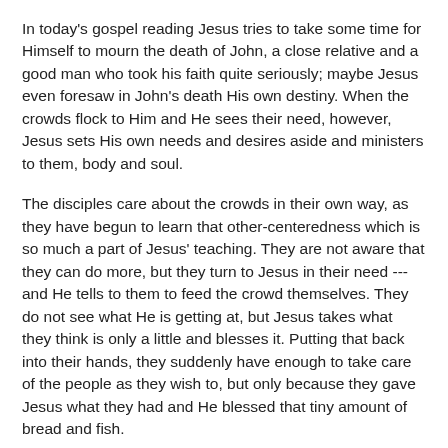In today's gospel reading Jesus tries to take some time for Himself to mourn the death of John, a close relative and a good man who took his faith quite seriously; maybe Jesus even foresaw in John's death His own destiny. When the crowds flock to Him and He sees their need, however, Jesus sets His own needs and desires aside and ministers to them, body and soul.
The disciples care about the crowds in their own way, as they have begun to learn that other-centeredness which is so much a part of Jesus' teaching. They are not aware that they can do more, but they turn to Jesus in their need --- and He tells to them to feed the crowd themselves. They do not see what He is getting at, but Jesus takes what they think is only a little and blesses it. Putting that back into their hands, they suddenly have enough to take care of the people as they wish to, but only because they gave Jesus what they had and He blessed that tiny amount of bread and fish.
We ourselves wish to care for others, but we also believe that we do not have enough to do the great things that our hearts dream of. But do not worry if it seems to be